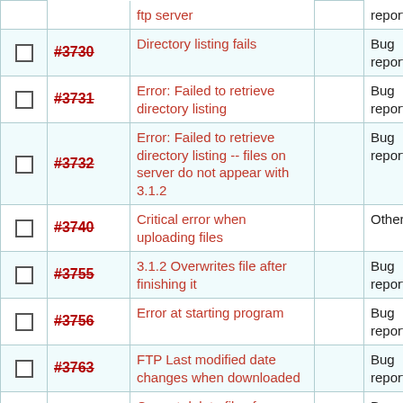|  | ID | Description |  | Type |
| --- | --- | --- | --- | --- |
| ☐ | #3730 | Directory listing fails |  | Bug report |
| ☐ | #3731 | Error: Failed to retrieve directory listing |  | Bug report |
| ☐ | #3732 | Error: Failed to retrieve directory listing -- files on server do not appear with 3.1.2 |  | Bug report |
| ☐ | #3740 | Critical error when uploading files |  | Other |
| ☐ | #3755 | 3.1.2 Overwrites file after finishing it |  | Bug report |
| ☐ | #3756 | Error at starting program |  | Bug report |
| ☐ | #3763 | FTP Last modified date changes when downloaded |  | Bug report |
| ☐ | #3790 | Cannot delete files from server |  | Bug report |
| ☐ | #3812 | Adding a link onto my site |  | Other |